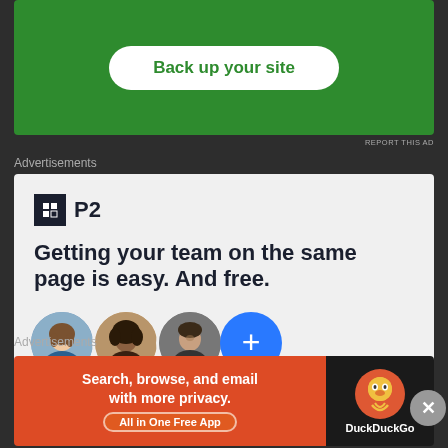[Figure (screenshot): Green advertisement banner with 'Back up your site' white button]
REPORT THIS AD
Advertisements
[Figure (screenshot): P2 advertisement: logo, headline 'Getting your team on the same page is easy. And free.' with three avatar photos and a blue plus button]
Advertisements
[Figure (screenshot): DuckDuckGo advertisement: 'Search, browse, and email with more privacy. All in One Free App' with DuckDuckGo logo]